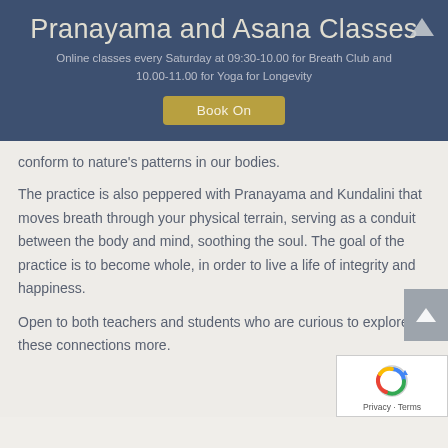Pranayama and Asana Classes
Online classes every Saturday at 09:30-10.00 for Breath Club and 10.00-11.00 for Yoga for Longevity
Book On
conform to nature's patterns in our bodies.
The practice is also peppered with Pranayama and Kundalini that moves breath through your physical terrain, serving as a conduit between the body and mind, soothing the soul. The goal of the practice is to become whole, in order to live a life of integrity and happiness.
Open to both teachers and students who are curious to explore these connections more.
[Figure (logo): reCAPTCHA privacy badge with refresh icon, Privacy · Terms text]